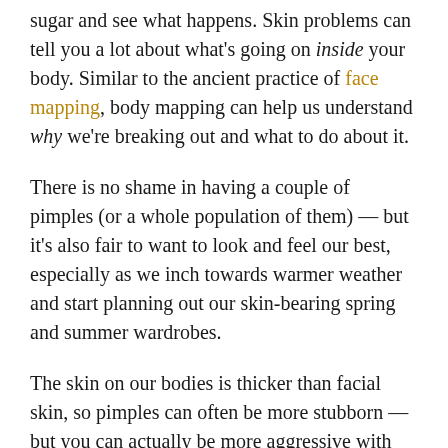sugar and see what happens. Skin problems can tell you a lot about what's going on inside your body. Similar to the ancient practice of face mapping, body mapping can help us understand why we're breaking out and what to do about it.
There is no shame in having a couple of pimples (or a whole population of them) — but it's also fair to want to look and feel our best, especially as we inch towards warmer weather and start planning out our skin-bearing spring and summer wardrobes.
The skin on our bodies is thicker than facial skin, so pimples can often be more stubborn — but you can actually be more aggressive with treatments.
Body acne, like all acne, requires a holistic approach and a little trial and error. The acne map above is a great place to start solving the mystery of your breakouts. We're sharing